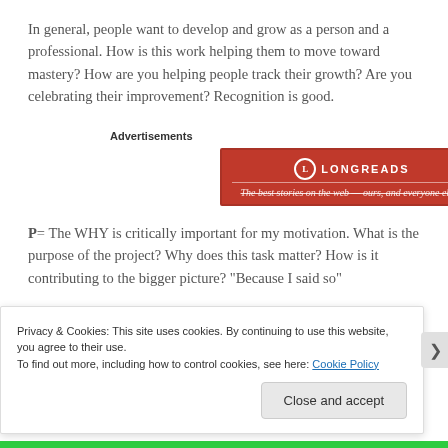In general, people want to develop and grow as a person and a professional. How is this work helping them to move toward mastery? How are you helping people track their growth? Are you celebrating their improvement? Recognition is good.
Advertisements
[Figure (other): Longreads advertisement banner — red background with circular logo, title 'LONGREADS', subtitle 'The best stories on the web — ours, and everyone else's']
P= The WHY is critically important for my motivation. What is the purpose of the project? Why does this task matter? How is it contributing to the bigger picture? "Because I said so"
Privacy & Cookies: This site uses cookies. By continuing to use this website, you agree to their use.
To find out more, including how to control cookies, see here: Cookie Policy